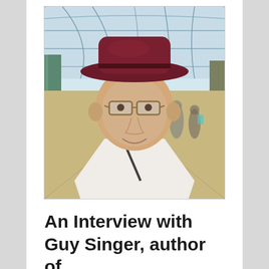[Figure (photo): A man wearing a dark red/maroon fedora hat and glasses, smiling at the camera. He is in an indoor market or arcade with a grand glass and iron roof (reminiscent of Covent Garden, London). He wears a white t-shirt with a bag strap across his chest. People are visible in the background.]
An Interview with Guy Singer, author of